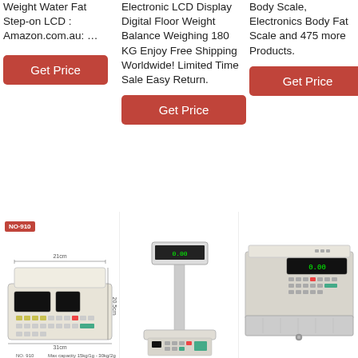Weight Water Fat Step-on LCD : Amazon.com.au: …
Electronic LCD Display Digital Floor Weight Balance Weighing 180 KG Enjoy Free Shipping Worldwide! Limited Time Sale Easy Return.
Body Scale, Electronics Body Fat Scale and 475 more Products.
Get Price
Get Price
Get Price
[Figure (photo): Electronic pricing scale NO-910 with red LED display and keypad, dimensions labeled]
[Figure (photo): Electronic weighing scale with pole-mounted display screen]
[Figure (photo): Electronic scale with cash drawer tray]